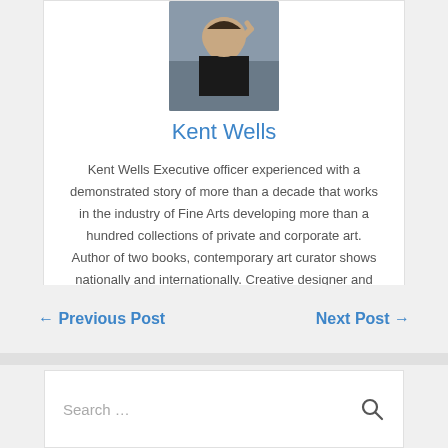[Figure (photo): Portrait photo of Kent Wells, a person in a black shirt with hand raised near face, outdoors]
Kent Wells
Kent Wells Executive officer experienced with a demonstrated story of more than a decade that works in the industry of Fine Arts developing more than a hundred collections of private and corporate art. Author of two books, contemporary art curator shows nationally and internationally. Creative designer and curator of art-centered experiences.
← Previous Post
Next Post →
Search …